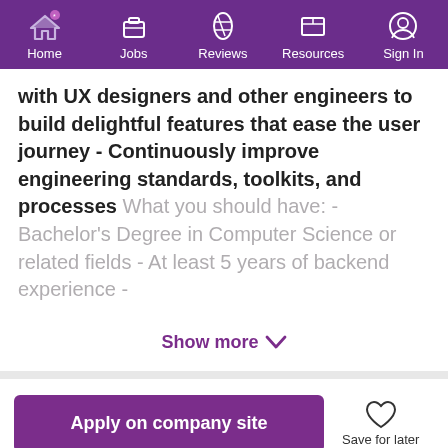Home | Jobs | Reviews | Resources | Sign In
with UX designers and other engineers to build delightful features that ease the user journey - Continuously improve engineering standards, toolkits, and processes What you should have: - Bachelor's Degree in Computer Science or related fields - At least 5 years of backend experience -
Show more
Apply on company site
Save for later
Our site uses cookies to improve your experience. Read More
Got It!